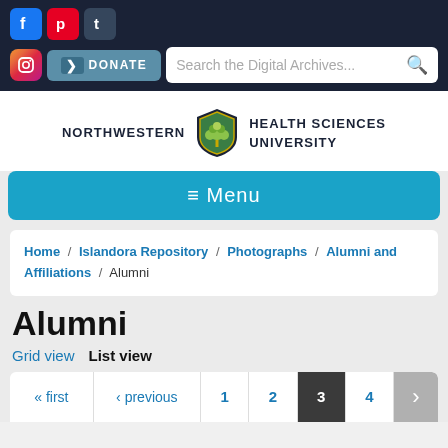[Figure (screenshot): Social media icons: Facebook, Pinterest, Tumblr, Instagram in dark navigation bar]
[Figure (screenshot): Donate button and search box reading 'Search the Digital Archives...']
[Figure (logo): Northwestern Health Sciences University logo with tree shield emblem]
≡ Menu
Home / Islandora Repository / Photographs / Alumni and Affiliations / Alumni
Alumni
Grid view   List view
« first  ‹ previous  1  2  3  4